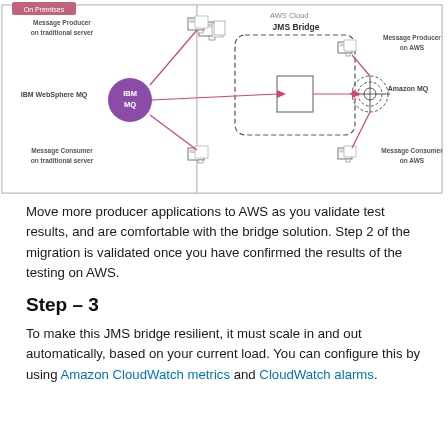[Figure (schematic): Architecture diagram showing IBM WebSphere MQ (on-premises) connected via pink arrows to a JMS Bridge in AWS Cloud, which connects to Amazon MQ. Message Producer and Message Consumer are shown on both traditional server and AWS sides.]
Move more producer applications to AWS as you validate test results, and are comfortable with the bridge solution. Step 2 of the migration is validated once you have confirmed the results of the testing on AWS.
Step – 3
To make this JMS bridge resilient, it must scale in and out automatically, based on your current load. You can configure this by using Amazon CloudWatch metrics and CloudWatch alarms.